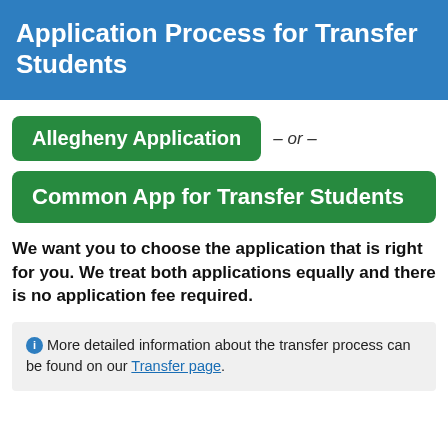Application Process for Transfer Students
Allegheny Application – or –
Common App for Transfer Students
We want you to choose the application that is right for you. We treat both applications equally and there is no application fee required.
More detailed information about the transfer process can be found on our Transfer page.